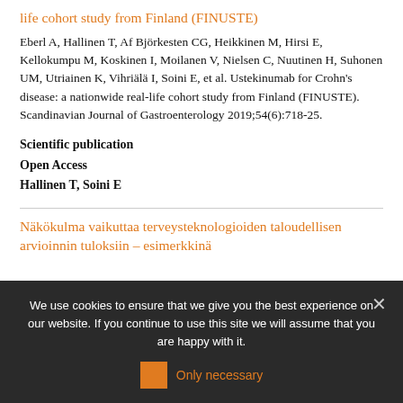life cohort study from Finland (FINUSTE)
Eberl A, Hallinen T, Af Björkesten CG, Heikkinen M, Hirsi E, Kellokumpu M, Koskinen I, Moilanen V, Nielsen C, Nuutinen H, Suhonen UM, Utriainen K, Vihriälä I, Soini E, et al. Ustekinumab for Crohn's disease: a nationwide real-life cohort study from Finland (FINUSTE). Scandinavian Journal of Gastroenterology 2019;54(6):718-25.
Scientific publication
Open Access
Hallinen T, Soini E
Näkökulma vaikuttaa terveysteknologioiden taloudellisen arvioinnin tuloksiin – esimerkkinä
We use cookies to ensure that we give you the best experience on our website. If you continue to use this site we will assume that you are happy with it.
Only necessary